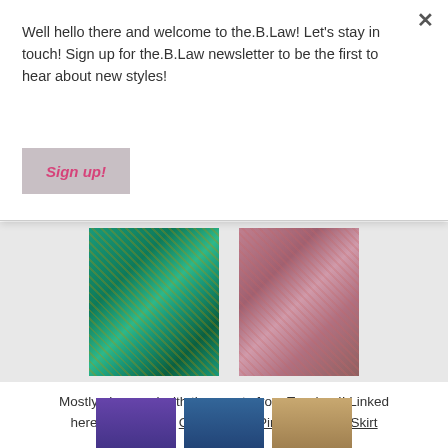Well hello there and welcome to the.B.Law! Let's stay in touch! Sign up for the.B.Law newsletter to be the first to hear about new styles!
Sign up!
[Figure (photo): Two product images: a green sequin skirt outfit on the left and a pink/mauve sequin skirt outfit on the right from Topshop]
Mostly obsessed with these sets from Topshop!! Linked here: Green Top | Green Skirt | Pink Top | Pink Skirt
[Figure (photo): Three product images at the bottom: purple sequin top, blue metallic long sleeve, and a beige/nude strappy outfit]